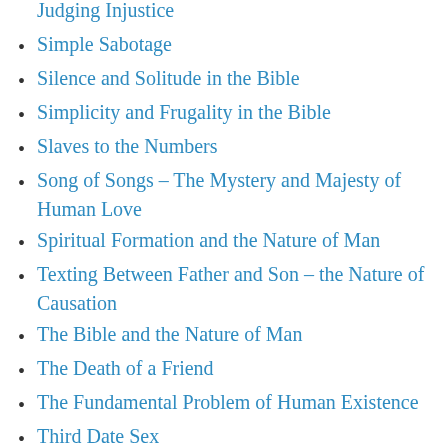Simple Sabotage
Silence and Solitude in the Bible
Simplicity and Frugality in the Bible
Slaves to the Numbers
Song of Songs – The Mystery and Majesty of Human Love
Spiritual Formation and the Nature of Man
Texting Between Father and Son – the Nature of Causation
The Bible and the Nature of Man
The Death of a Friend
The Fundamental Problem of Human Existence
Third Date Sex
True to Each Other